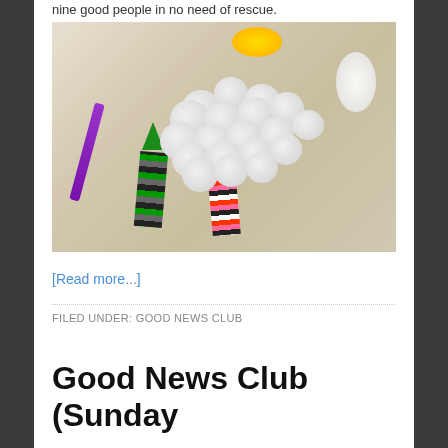nine good people in no need of rescue.
[Figure (photo): A sheep craft made from cotton balls glued onto a striped paper body, placed on a beige carpet. Other craft supplies visible around it including a purple marker, yellow item, and green triangular shape.]
[Read more...]
FILED UNDER: GOOD NEWS CLUB
Good News Club (Sunday